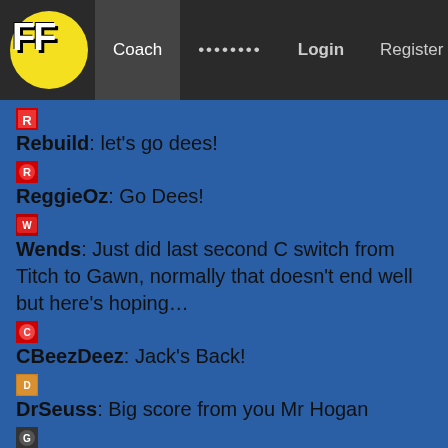FF | Coach | ........ | Login | Register
Rebuild: let's go dees!
ReggieOz: Go Dees!
Wends: Just did last second C switch from Titch to Gawn, normally that doesn't end well but here's hoping…
CBeezDeez: Jack's Back!
DrSeuss: Big score from you Mr Hogan
Generalsor: Don't like our chances without both Curnows.
Apachecats: Good move Wends.
frenzy: you're missing the late in Kerr, m0nty
circle52: So we blame you Wends if Gawn crashes
Torz: Fritsch is looking great up the ground.
Torpedo10: All I want this week is a good